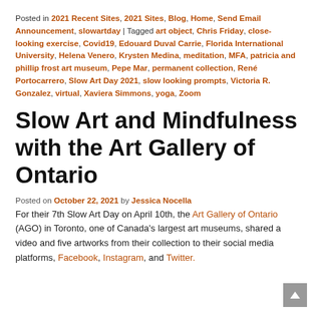Posted in 2021 Recent Sites, 2021 Sites, Blog, Home, Send Email Announcement, slowartday | Tagged art object, Chris Friday, close-looking exercise, Covid19, Edouard Duval Carrie, Florida International University, Helena Venero, Krysten Medina, meditation, MFA, patricia and phillip frost art museum, Pepe Mar, permanent collection, René Portocarrero, Slow Art Day 2021, slow looking prompts, Victoria R. Gonzalez, virtual, Xaviera Simmons, yoga, Zoom
Slow Art and Mindfulness with the Art Gallery of Ontario
Posted on October 22, 2021 by Jessica Nocella
For their 7th Slow Art Day on April 10th, the Art Gallery of Ontario (AGO) in Toronto, one of Canada's largest art museums, shared a video and five artworks from their collection to their social media platforms, Facebook, Instagram, and Twitter.